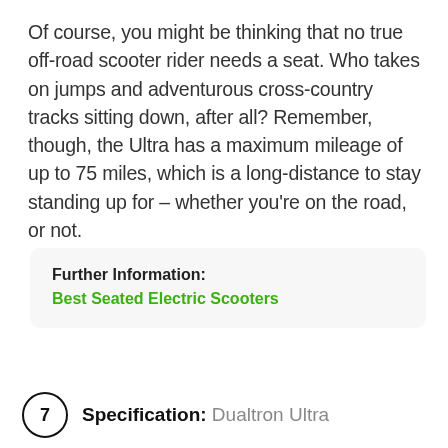Of course, you might be thinking that no true off-road scooter rider needs a seat. Who takes on jumps and adventurous cross-country tracks sitting down, after all? Remember, though, the Ultra has a maximum mileage of up to 75 miles, which is a long-distance to stay standing up for – whether you're on the road, or not.
Further Information: Best Seated Electric Scooters
7 Specification: Dualtron Ultra